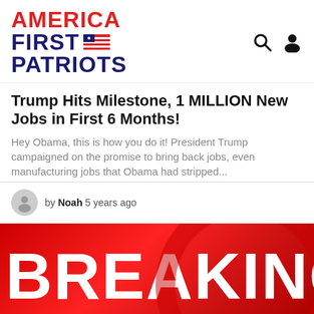AMERICA FIRST PATRIOTS
Trump Hits Milestone, 1 MILLION New Jobs in First 6 Months!
Hey Obama, this is how you do it! President Trump campaigned on the promise to bring back jobs, even manufacturing jobs that Obama had stripped...
by Noah 5 years ago
[Figure (photo): Red breaking news banner with large white bold text reading 'BREAKING']